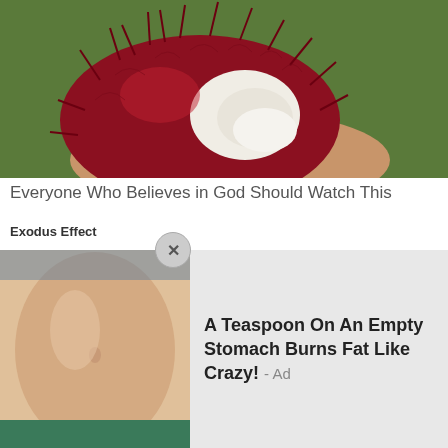[Figure (photo): A rambutan fruit held in a hand, opened to reveal white flesh inside, with red spiky exterior.]
Everyone Who Believes in God Should Watch This
Exodus Effect
[Figure (photo): Close-up of a smiling blonde woman with makeup, being treated by someone in blue medical gloves.]
[Figure (photo): Close-up photo showing a person's midsection/belly area, part of a popup advertisement.]
A Teaspoon On An Empty Stomach Burns Fat Like Crazy! - Ad